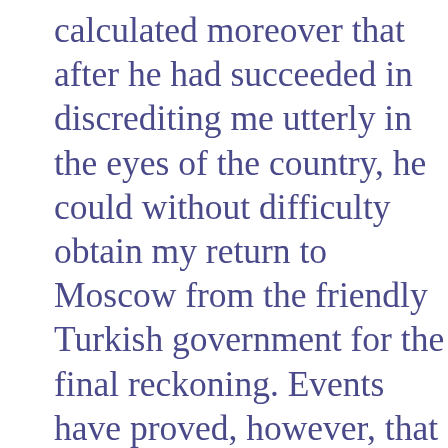calculated moreover that after he had succeeded in discrediting me utterly in the eyes of the country, he could without difficulty obtain my return to Moscow from the friendly Turkish government for the final reckoning. Events have proved, however, that it is possible to participate in political life without an apparatus and without material resources. With the aid of young friends, I created the foundations of the Fourth International which is developing slowly but surely. The Moscow trials of 1936-1937 were staged in order to obtain my deportation from Norway, that is, my being actually handed over to the GPU. But this failed; I had the possibility of going to Mexico. As I have been informed, Stalin has several times admitted that my exile abroad was his “greatest mistake.” To correct the mistake, nothing remained save a terrorist act.
In recent years the GPU has destroyed several hundred of my friends in the USSR, including members of my family. In Spain